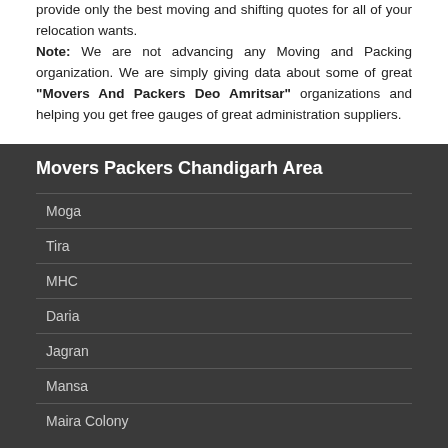provide only the best moving and shifting quotes for all of your relocation wants. Note: We are not advancing any Moving and Packing organization. We are simply giving data about some of great "Movers And Packers Deo Amritsar" organizations and helping you get free gauges of great administration suppliers.
Movers Packers Chandigarh Area
Moga
Tira
MHC
Daria
Jagran
Mansa
Maira Colony